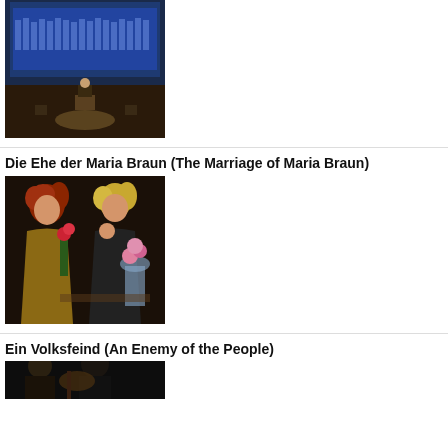[Figure (photo): A performance photo showing a person at a desk/podium on stage with a large screen displaying a choir or group of people in blue suits behind them, taken in a dark concert hall.]
Die Ehe der Maria Braun (The Marriage of Maria Braun)
[Figure (photo): Two performers on stage, one with curly red hair holding red roses, one with blonde hair, in theatrical costumes against a dark background with pink flowers visible.]
Ein Volksfeind (An Enemy of the People)
[Figure (photo): Performers on stage in dark setting, partially visible at bottom of page.]